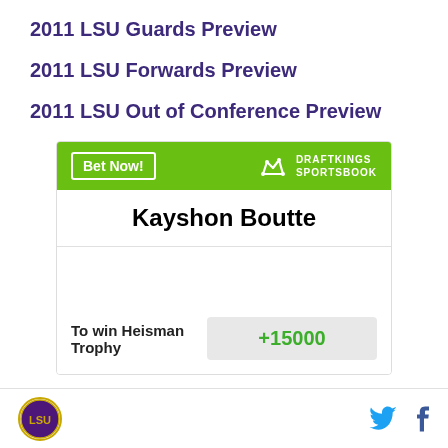2011 LSU Guards Preview
2011 LSU Forwards Preview
2011 LSU Out of Conference Preview
|  |  |
| --- | --- |
| Kayshon Boutte |  |
| To win Heisman Trophy | +15000 |
LSU logo | Twitter | Facebook